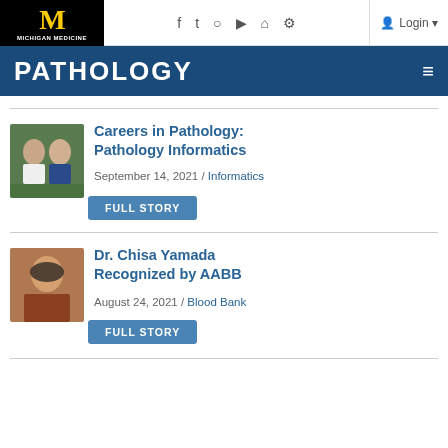Michigan Medicine | Pathology — website header with navigation icons and login
[Figure (screenshot): Article thumbnail showing two men in professional headshots against a green background]
Careers in Pathology: Pathology Informatics
September 14, 2021 / Informatics
FULL STORY
[Figure (photo): Headshot of Dr. Chisa Yamada, an Asian woman with dark hair against a reddish-brown background]
Dr. Chisa Yamada Recognized by AABB
August 24, 2021 / Blood Bank
FULL STORY